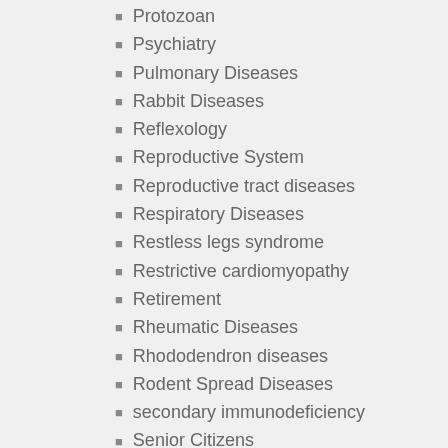Protozoan
Psychiatry
Pulmonary Diseases
Rabbit Diseases
Reflexology
Reproductive System
Reproductive tract diseases
Respiratory Diseases
Restless legs syndrome
Restrictive cardiomyopathy
Retirement
Rheumatic Diseases
Rhododendron diseases
Rodent Spread Diseases
secondary immunodeficiency
Senior Citizens